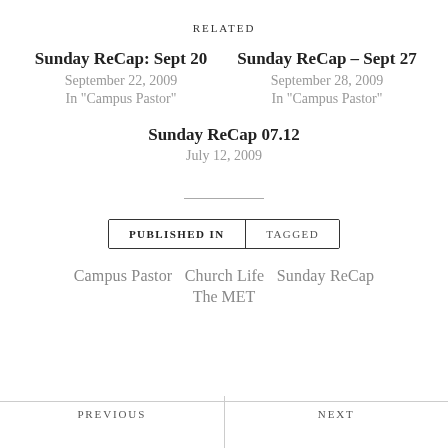RELATED
Sunday ReCap: Sept 20
September 22, 2009
In "Campus Pastor"
Sunday ReCap – Sept 27
September 28, 2009
In "Campus Pastor"
Sunday ReCap 07.12
July 12, 2009
PUBLISHED IN | TAGGED
Campus Pastor   Church Life   Sunday ReCap
The MET
PREVIOUS | NEXT